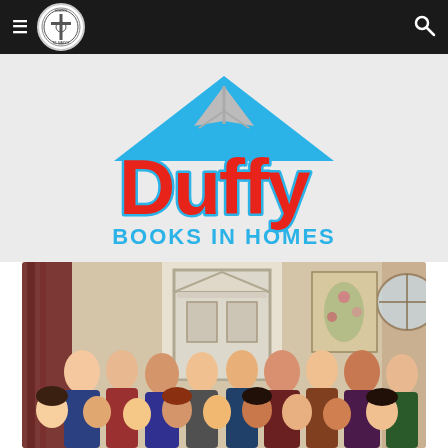Navigation bar with hamburger menu, circular logo, and search icon
[Figure (logo): Duffy Books in Homes logo: blue rooftop shape above red bold text 'Duffy' with blue outline, and blue text 'BOOKS IN HOMES' below]
[Figure (photo): Group photo of adults and children in a formal room with curtains, fireplace mantle, and decorative window]